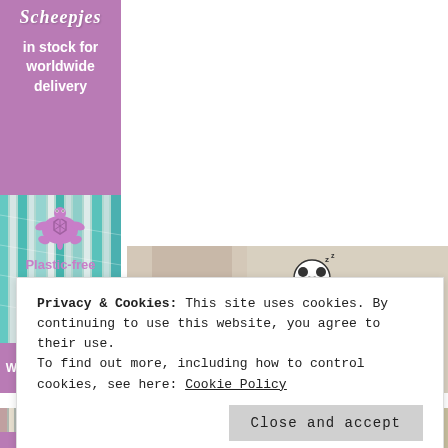[Figure (illustration): Purple banner with script logo text for a yarn/needlework shop, text 'in stock for worldwide delivery' in white]
in stock for worldwide delivery
[Figure (photo): Colorful yarn strands - teal, white, and grey twisted threads]
Why shop with us?
[Figure (illustration): Purple turtle icon with geometric shell pattern]
Plastic-free packaging
[Figure (photo): SOCKSHOP Lazy Panda branded advertisement showing socks and feet]
Privacy & Cookies: This site uses cookies. By continuing to use this website, you agree to their use.
To find out more, including how to control cookies, see here: Cookie Policy
Close and accept
[Figure (photo): Bottom strip showing colorful yarn threads]
[Figure (photo): Bottom strip showing yellow/gold bands and skin tones]
SHOP NOW >